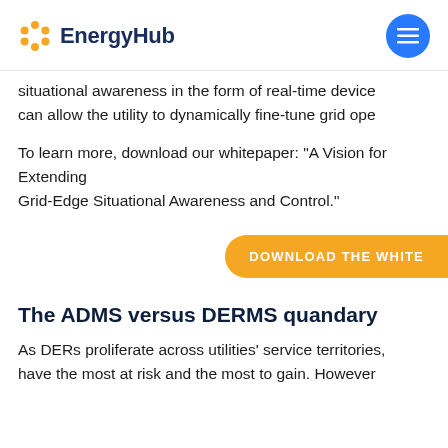EnergyHub
situational awareness in the form of real-time device can allow the utility to dynamically fine-tune grid ope
To learn more, download our whitepaper: "A Vision for Extending Grid-Edge Situational Awareness and Control."
[Figure (other): Orange download button labeled DOWNLOAD THE WHITE]
The ADMS versus DERMS quandary
As DERs proliferate across utilities' service territories, have the most at risk and the most to gain. However